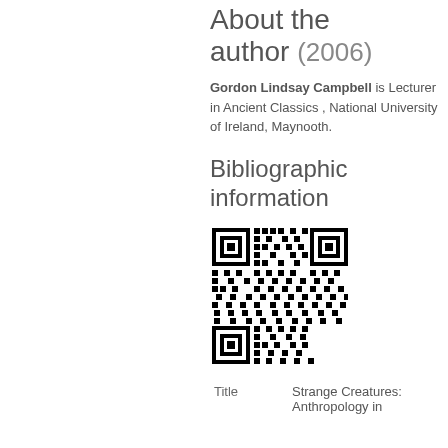About the author (2006)
Gordon Lindsay Campbell is Lecturer in Ancient Classics , National University of Ireland, Maynooth.
Bibliographic information
[Figure (other): QR code for bibliographic information]
| Title | Strange Creatures: Anthropology in... |